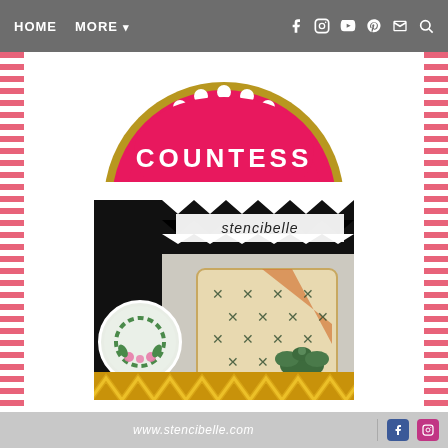HOME  MORE ▾
[Figure (logo): Partially visible circular pink logo with scalloped edge and gold border, white text 'COUNTESS' visible]
[Figure (illustration): Stencibelle advertisement showing decorated cookies with stencil patterns — a round cookie with green wreath and pink roses, and a square cookie with cross/plus pattern and green cactus decoration. Black and white chevron pattern at top, gold glitter chevron at bottom.]
Stencils that offer innovations, creativity and make your job easier!
www.stencibelle.com